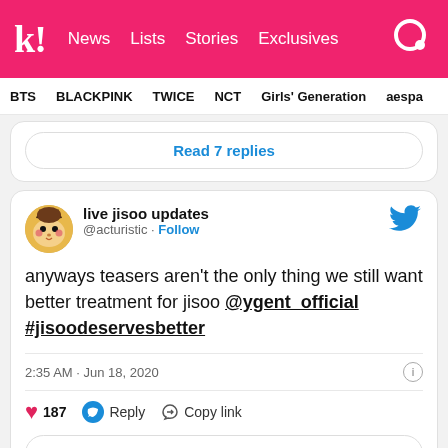k! News Lists Stories Exclusives
BTS BLACKPINK TWICE NCT Girls' Generation aespa
Read 7 replies
[Figure (screenshot): Tweet from @acturistic (live jisoo updates): anyways teasers aren't the only thing we still want better treatment for jisoo @ygent_official #jisoodeservesbetter — 2:35 AM · Jun 18, 2020 — 187 likes]
Read 5 replies